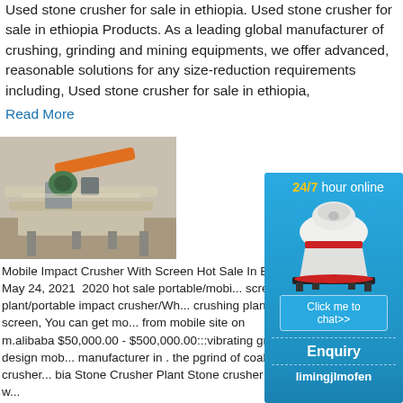Used stone crusher for sale in ethiopia. Used stone crusher for sale in ethiopia Products. As a leading global manufacturer of crushing, grinding and mining equipments, we offer advanced, reasonable solutions for any size-reduction requirements including, Used stone crusher for sale in ethiopia,
Read More
[Figure (photo): Photo of a mobile impact crusher / screening plant machinery in an industrial setting]
Mobile Impact Crusher With Screen Hot Sale In E... May 24, 2021  2020 hot sale portable/mobi... screening plant/portable impact crusher/Wh... crushing plant with screen, You can get mo... from mobile site on m.alibaba $50,000.00 - $500,000.00:::vibrating grinder design mob... manufacturer in . the pgrind of coal crusher... bia Stone Crusher Plant Stone crusher plant w...
[Figure (infographic): Sidebar advertisement: 24/7 hour online, image of cone crusher machine, Click me to chat>> button, Enquiry section, limingjlmofen branding]